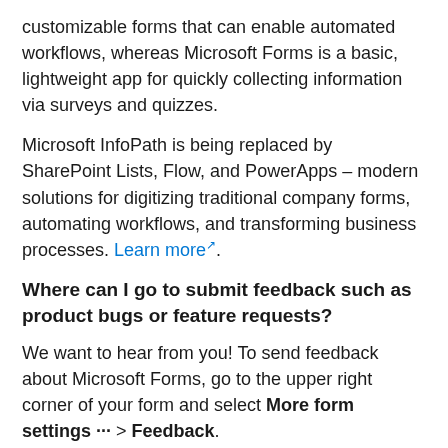customizable forms that can enable automated workflows, whereas Microsoft Forms is a basic, lightweight app for quickly collecting information via surveys and quizzes.
Microsoft InfoPath is being replaced by SharePoint Lists, Flow, and PowerApps – modern solutions for digitizing traditional company forms, automating workflows, and transforming business processes. Learn more.
Where can I go to submit feedback such as product bugs or feature requests?
We want to hear from you! To send feedback about Microsoft Forms, go to the upper right corner of your form and select More form settings ··· > Feedback.
Note
See Frequently asked questions about Microsoft